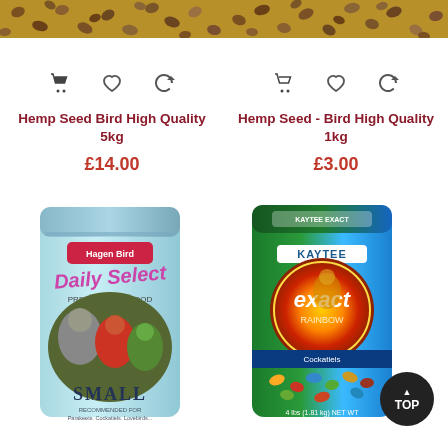[Figure (photo): Close-up of hemp seeds — left product image top]
[Figure (photo): Close-up of hemp seeds — right product image top]
Hemp Seed Bird High Quality 5kg
£14.00
Hemp Seed - Bird High Quality 1kg
£3.00
[Figure (photo): Hagen Bird Daily Select Premium Bird Food Small bag with parrots]
[Figure (photo): Kaytee Exact Rainbow bird food bag with cockatiel]